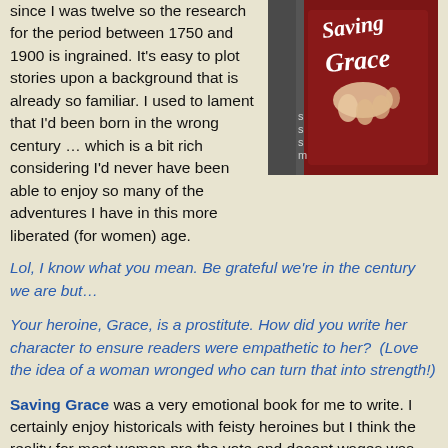since I was twelve so the research for the period between 1750 and 1900 is ingrained. It's easy to plot stories upon a background that is already so familiar. I used to lament that I'd been born in the wrong century … which is a bit rich considering I'd never have been able to enjoy so many of the adventures I have in this more liberated (for women) age.
[Figure (illustration): Book cover for 'Saving Grace' showing a woman in a red corset with cursive title text]
Lol, I know what you mean. Be grateful we're in the century we are but…
Your heroine, Grace, is a prostitute. How did you write her character to ensure readers were empathetic to her?  (Love the idea of a woman wronged who can turn that into strength!)
Saving Grace was a very emotional book for me to write. I certainly enjoy historicals with feisty heroines but I think the reality for most women pre the vote and decent wages was that they were utterly powerless to direct their own lives – unless they were cunning about it, for they certainly didn't have the legal and financial resources we take for granted. A 'reputation' was